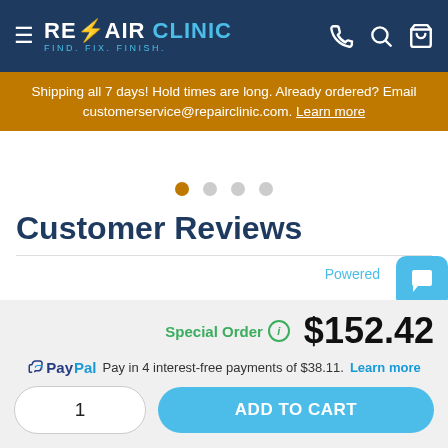REPAIR CLINIC - FIND. FIX. FINISH.
Shipping all 7 days! Hold times are long. Already ordered? Email customerservice@repairclinic.com. Learn more
Customer Reviews
Powered
Special Order  $152.42
PayPal Pay in 4 interest-free payments of $38.11. Learn more
1
ADD TO CART